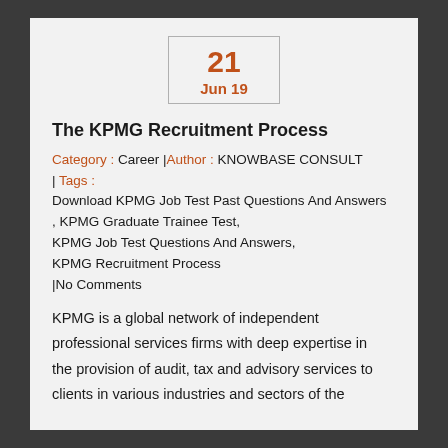[Figure (other): Date box showing '21 Jun 19' in orange text inside a bordered rectangle]
The KPMG Recruitment Process
Category : Career | Author : KNOWBASE CONSULT | Tags : Download KPMG Job Test Past Questions And Answers , KPMG Graduate Trainee Test, KPMG Job Test Questions And Answers, KPMG Recruitment Process |No Comments
KPMG is a global network of independent professional services firms with deep expertise in the provision of audit, tax and advisory services to clients in various industries and sectors of the